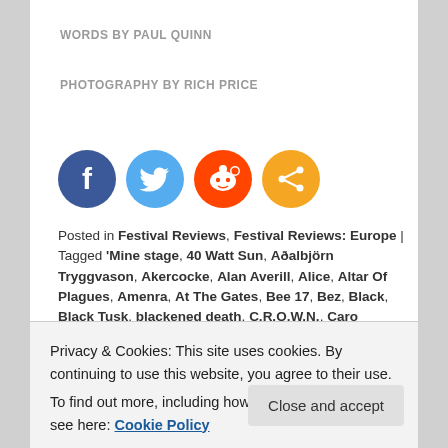WORDS BY PAUL QUINN
PHOTOGRAPHY BY RICH PRICE
[Figure (infographic): Social share icons: Facebook (dark blue), Twitter (light blue), Reddit (orange-red), Share (orange)]
Posted in Festival Reviews, Festival Reviews: Europe | Tagged 'Mine stage, 40 Watt Sun, Aðalbjörn Tryggvason, Akercocke, Alan Averill, Alice, Altar Of Plagues, Amenra, At The Gates, Bee 17, Bez, Black, Black Tusk, blackened death, C.R.O.W.N., Caro Tanghe, Church of Ra, Colin van Eeckhout, Conan, Damnation 2015, death metal, Diego Costa, doom, Drone, Electric Wizard, Eyesore stage, folk, George Birch, George
Privacy & Cookies: This site uses cookies. By continuing to use this website, you agree to their use.
To find out more, including how to control cookies, see here: Cookie Policy
Corona-Brown, Patrick Walker, Paul Quinn, Paul van